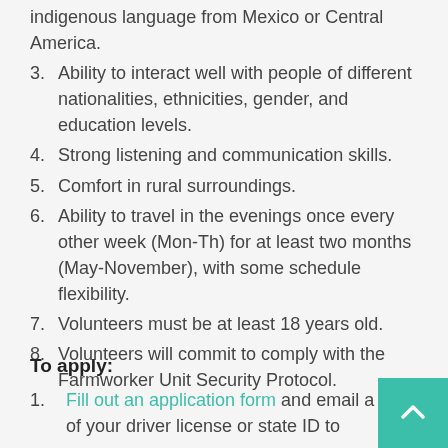Indigenous language from Mexico or Central America.
3. Ability to interact well with people of different nationalities, ethnicities, gender, and education levels.
4. Strong listening and communication skills.
5. Comfort in rural surroundings.
6. Ability to travel in the evenings once every other week (Mon-Th) for at least two months (May-November), with some schedule flexibility.
7. Volunteers must be at least 18 years old.
8. Volunteers will commit to comply with the Farmworker Unit Security Protocol.
To apply:
1. Fill out an application form and email a copy of your driver license or state ID to